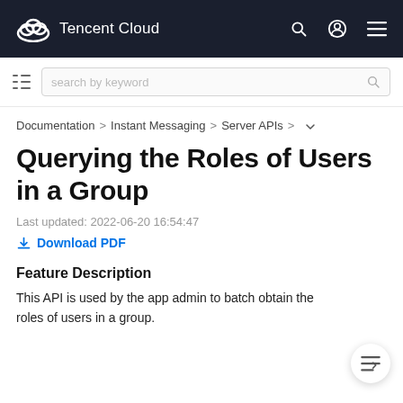Tencent Cloud
search by keyword
Documentation > Instant Messaging > Server APIs >
Querying the Roles of Users in a Group
Last updated: 2022-06-20 16:54:47
Download PDF
Feature Description
This API is used by the app admin to batch obtain the roles of users in a group.